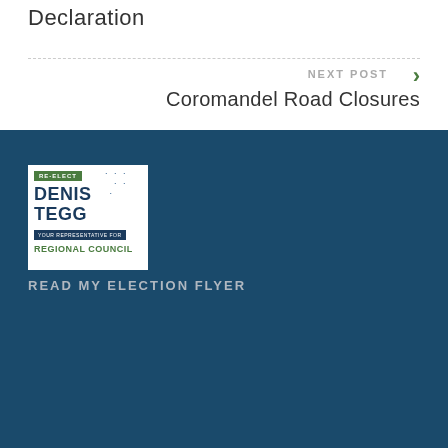Declaration
NEXT POST
Coromandel Road Closures
[Figure (illustration): Election campaign image for Denis Tegg, Regional Council candidate. White background with green 'RE-ELECT' badge, bold text 'DENIS TEGG', dark blue bar reading 'YOUR REPRESENTATIVE FOR', and green text 'REGIONAL COUNCIL' with decorative dots.]
READ MY ELECTION FLYER